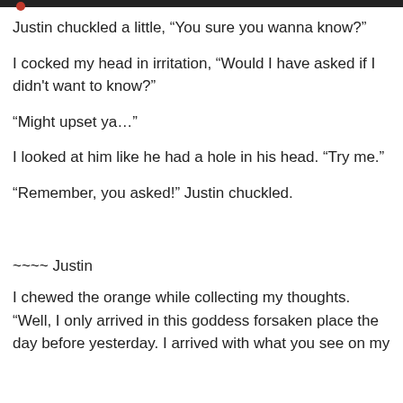Justin chuckled a little, “You sure you wanna know?”
I cocked my head in irritation, “Would I have asked if I didn't want to know?”
“Might upset ya…”
I looked at him like he had a hole in his head. “Try me.”
“Remember, you asked!” Justin chuckled.
~~~~ Justin
I chewed the orange while collecting my thoughts. “Well, I only arrived in this goddess forsaken place the day before yesterday. I arrived with what you see on my